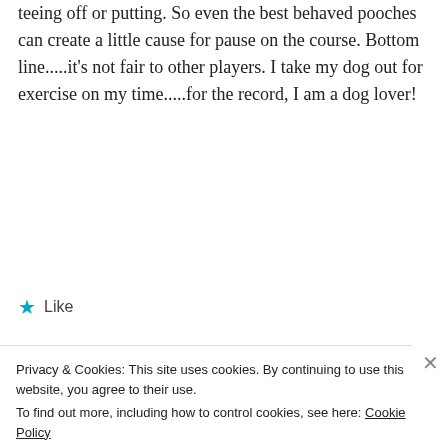teeing off or putting. So even the best behaved pooches can create a little cause for pause on the course. Bottom line.....it's not fair to other players. I take my dog out for exercise on my time.....for the record, I am a dog lover!
★ Like
REPLY
Jeff Hoots
Privacy & Cookies: This site uses cookies. By continuing to use this website, you agree to their use.
To find out more, including how to control cookies, see here: Cookie Policy
Close and accept